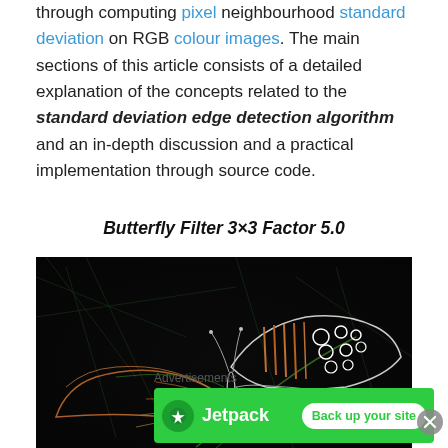through computing pixel neighbourhood standard deviation on RGB colour images. The main sections of this article consists of a detailed explanation of the concepts related to the standard deviation edge detection algorithm and an in-depth discussion and a practical implementation through source code.
Butterfly Filter 3×3 Factor 5.0
[Figure (photo): Edge-detected butterfly image showing glowing neon-like outlines of a butterfly on a dark background, produced by standard deviation edge detection algorithm with 3x3 filter factor 5.0]
Advertisements
[Figure (other): Jetpack advertisement banner with green background showing Jetpack logo and 'Back up your site' button]